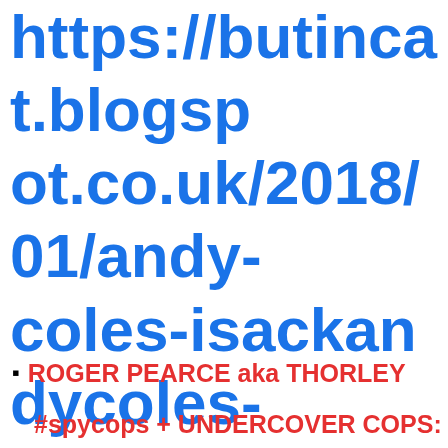https://butincat.blogspot.co.uk/2018/01/andy-coles-isackandycoles-spycops.html
ROGER PEARCE aka THORLEY
#spycops + UNDERCOVER COPS: